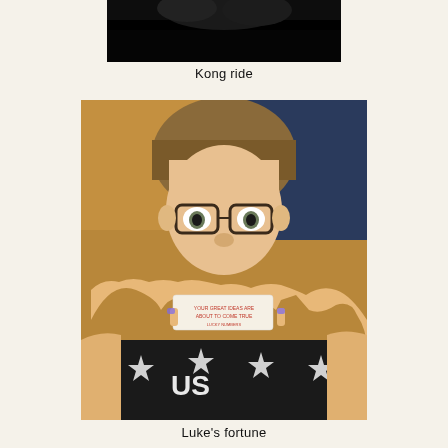[Figure (photo): Top portion of a photo showing a dark/black background, appears to be the Kong ride, mostly black with some dark texture at top]
Kong ride
[Figure (photo): A young man wearing glasses and a black and white patterned sweatshirt with 'US' text holds up a fortune cookie paper/slip close to the camera with both hands. The fortune slip is visible in the center of the frame.]
Luke's fortune